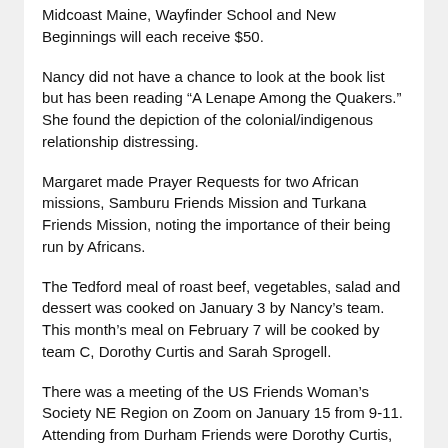Midcoast Maine, Wayfinder School and New Beginnings will each receive $50.
Nancy did not have a chance to look at the book list but has been reading “A Lenape Among the Quakers.” She found the depiction of the colonial/indigenous relationship distressing.
Margaret made Prayer Requests for two African missions, Samburu Friends Mission and Turkana Friends Mission, noting the importance of their being run by Africans.
The Tedford meal of roast beef, vegetables, salad and dessert was cooked on January 3 by Nancy’s team. This month’s meal on February 7 will be cooked by team C, Dorothy Curtis and Sarah Sprogell.
There was a meeting of the US Friends Woman’s Society NE Region on Zoom on January 15 from 9-11. Attending from Durham Friends were Dorothy Curtis, Helen, Nancy, Dorothy Hinshaw and Martha.